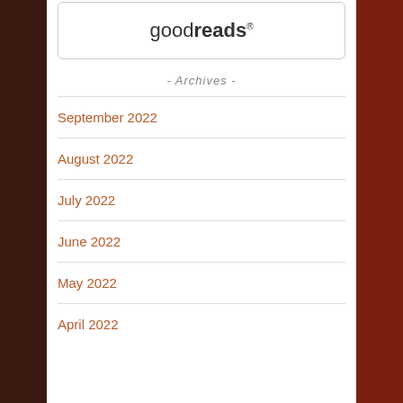[Figure (logo): Goodreads logo inside a rounded rectangle box]
- Archives -
September 2022
August 2022
July 2022
June 2022
May 2022
April 2022